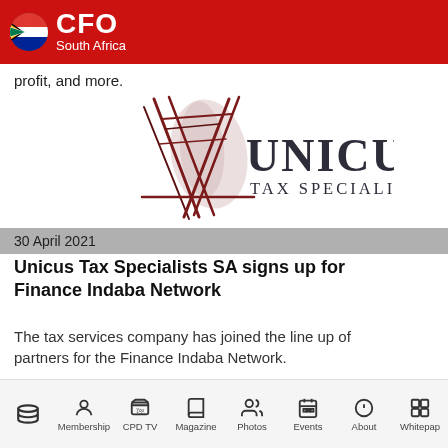CFO South Africa
profit, and more.
[Figure (logo): Unicus Tax Specialists SA logo — stylized slashing lines forming a letter U, with 'UNICUS TAX SPECIALISTS SA' text in dark serif font]
30 April 2021
Unicus Tax Specialists SA signs up for Finance Indaba Network
The tax services company has joined the line up of partners for the Finance Indaba Network.
Home  Membership  CPD TV  Magazine  Photos  Events  About  Whitepaper